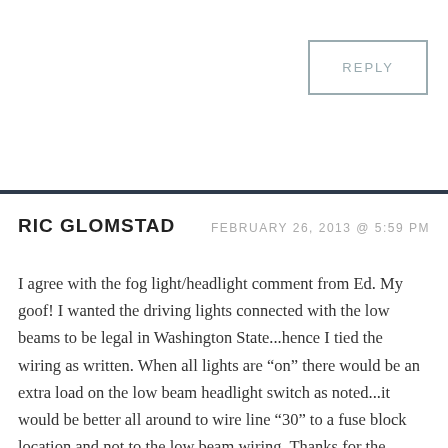REPLY
RIC GLOMSTAD
FEBRUARY 26, 2013 @ 5:59 PM
I agree with the fog light/headlight comment from Ed. My goof! I wanted the driving lights connected with the low beams to be legal in Washington State...hence I tied the wiring as written. When all lights are “on” there would be an extra load on the low beam headlight switch as noted...it would be better all around to wire line “30” to a fuse block location and not to the low beam wiring. Thanks for the comments, guys. There are sharp folk out there! Now, I better rewire my system.